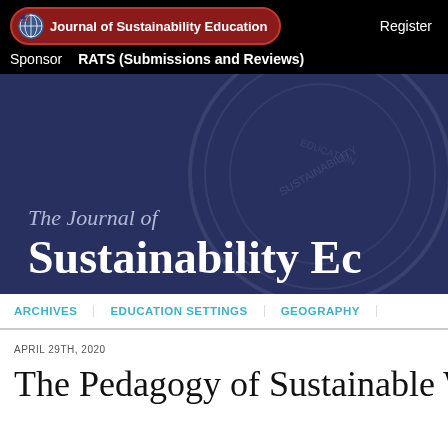Journal of Sustainability Education   Register   Sponsor   RATS (Submissions and Reviews)
[Figure (screenshot): Hero banner with dark navy blue background featuring a faint watermark seal and the journal name 'The Journal of Sustainability Education' in large serif white text]
ARCHIVES   EDUCATION SETTINGS   GEOGRAPHY
APRIL 29TH, 2020
The Pedagogy of Sustainable W